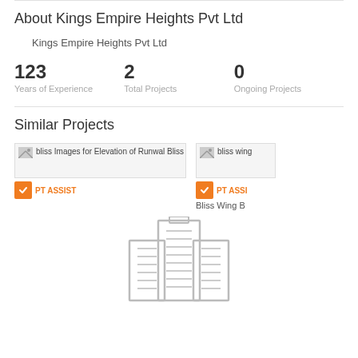About Kings Empire Heights Pvt Ltd
Kings Empire Heights Pvt Ltd
123
Years of Experience
2
Total Projects
0
Ongoing Projects
Similar Projects
[Figure (screenshot): Project card for bliss Images for Elevation of Runwal Bliss with PT ASSIST badge]
[Figure (screenshot): Project card for bliss wing with PT ASSIST badge showing Bliss Wing B]
[Figure (illustration): Gray building/skyscraper icon outline illustration]